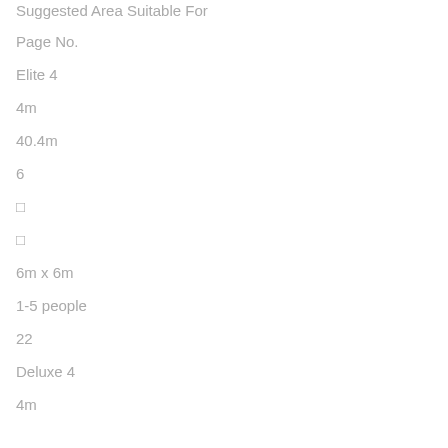Suggested Area Suitable For
Page No.
Elite 4
4m
40.4m
6
□
□
6m x 6m
1-5 people
22
Deluxe 4
4m